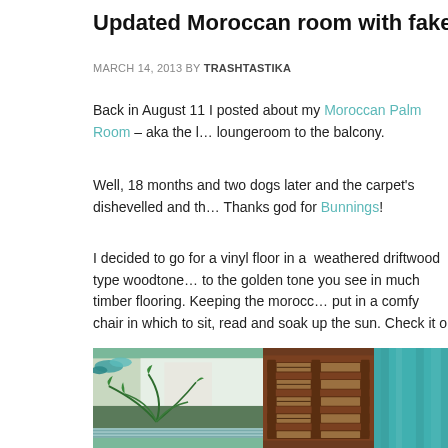Updated Moroccan room with fake weathered flo
MARCH 14, 2013 BY TRASHTASTIKA
Back in August 11 I posted about my Moroccan Palm Room – aka the l… loungeroom to the balcony.
Well, 18 months and two dogs later and the carpet's dishevelled and th… Thanks god for Bunnings!
I decided to go for a vinyl floor in a  weathered driftwood type woodtone… to the golden tone you see in much timber flooring. Keeping the morocc… put in a comfy chair in which to sit, read and soak up the sun. Check it o
[Figure (photo): Two-panel photo: left shows a palm plant by a window with teal/blue-green foliage and light; right shows a Moroccan-style woven wooden screen panel with teal curtain fabric beside it.]